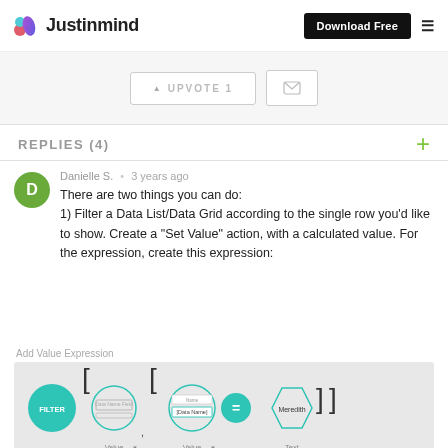Justinmind
[Figure (screenshot): Upvote button showing UPVOTE 1 and email/envelope icon button]
REPLIES (4)
Danielle S. • 3 years ago
There are two things you can do:
1) Filter a Data List/Data Grid according to the single row you'd like to show. Create a "Set Value" action, with a calculated value. For the expression, create this expression:
Add Value Expression
[Figure (screenshot): Add Value Expression dialog showing FILTER with circle, brackets, [Data Name] field, equals sign, and Meredith hexagon, with Value and Text dropdowns]